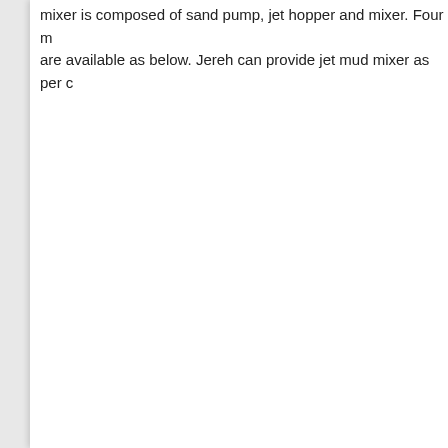mixer is composed of sand pump, jet hopper and mixer. Four models are available as below. Jereh can provide jet mud mixer as per c